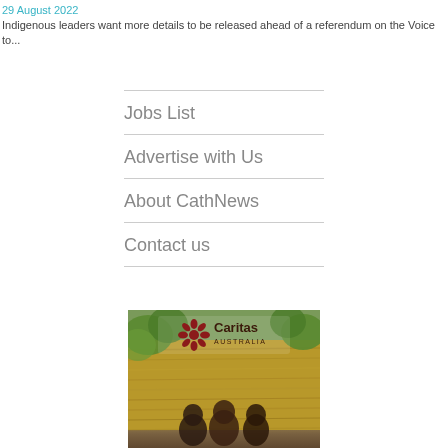29 August 2022
Indigenous leaders want more details to be released ahead of a referendum on the Voice to...
Jobs List
Advertise with Us
About CathNews
Contact us
[Figure (photo): Caritas Australia advertisement banner showing people in front of a thatched/straw structure with greenery, with the Caritas Australia logo (red flower/cross icon) displayed prominently at the top.]